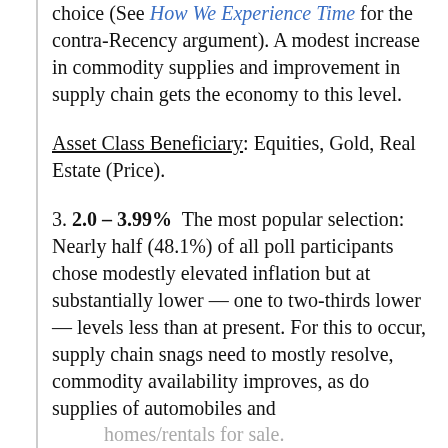…Recency, Libertarians and choice (See How We Experience Time for the contra-Recency argument). A modest increase in commodity supplies and improvement in supply chain gets the economy to this level.
Asset Class Beneficiary: Equities, Gold, Real Estate (Price).
3. 2.0 – 3.99%  The most popular selection: Nearly half (48.1%) of all poll participants chose modestly elevated inflation but at substantially lower — one to two-thirds lower — levels less than at present. For this to occur, supply chain snags need to mostly resolve, commodity availability improves, as do supplies of automobiles and homes/rentals for sale.